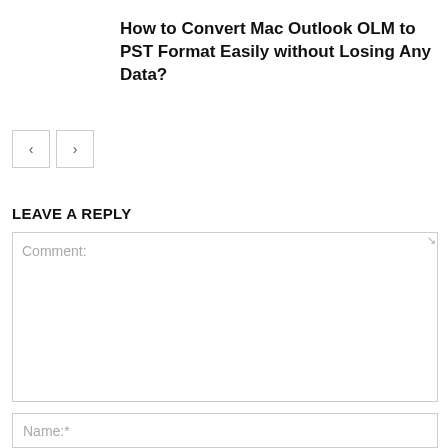How to Convert Mac Outlook OLM to PST Format Easily without Losing Any Data?
[Figure (other): Navigation previous/next buttons (left arrow and right arrow)]
LEAVE A REPLY
Comment:
Name:*